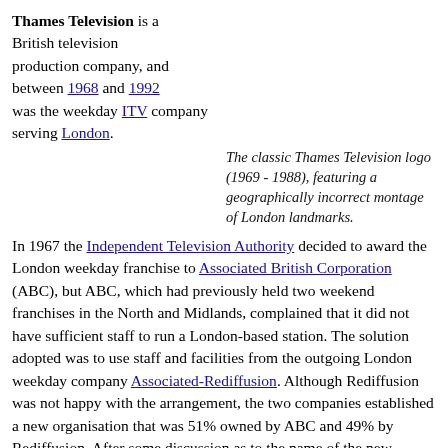Thames Television is a British television production company, and between 1968 and 1992 was the weekday ITV company serving London.
The classic Thames Television logo (1969 - 1988), featuring a geographically incorrect montage of London landmarks.
In 1967 the Independent Television Authority decided to award the London weekday franchise to Associated British Corporation (ABC), but ABC, which had previously held two weekend franchises in the North and Midlands, complained that it did not have sufficient staff to run a London-based station. The solution adopted was to use staff and facilities from the outgoing London weekday company Associated-Rediffusion. Although Rediffusion was not happy with the arrangement, the two companies established a new organisation that was 51% owned by ABC and 49% by Rediffusion. After some discussion as to the name of the new company - some directors favoured ABC London, while others suggested Tower Television because its headquarters was in an office tower - the company was named Thames Television. (Coincidentally, this was a name that had been considered and then rejected by London Weekend Television.)
In 1968 Thames began broadcasting to London from Monday mornings until its handover to LWT at 7 PM on Fridays. (In the 1980s this was changed to 5:15 PM).